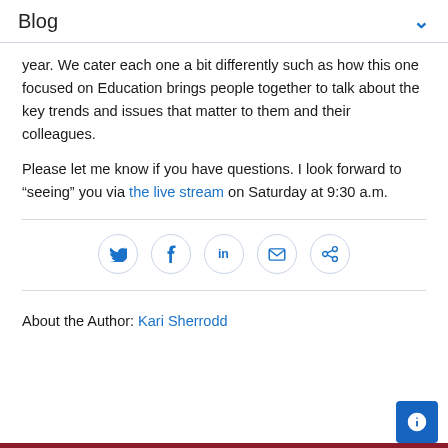Blog
year. We cater each one a bit differently such as how this one focused on Education brings people together to talk about the key trends and issues that matter to them and their colleagues.
Please let me know if you have questions. I look forward to “seeing” you via the live stream on Saturday at 9:30 a.m.
[Figure (infographic): Row of five social sharing icon buttons (Twitter, Facebook, LinkedIn, Email, Link) each in a circular bordered button, in blue]
About the Author: Kari Sherrodd